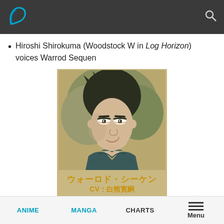Hiroshi Shirokuma (Woodstock W in Log Horizon) voices Warrod Sequen
[Figure (illustration): Anime character portrait of Warrod Sequen with Japanese text label: ウォーロド・シーケン CV：白熊寛嗣]
ANIME   MANGA   CHARTS   Menu